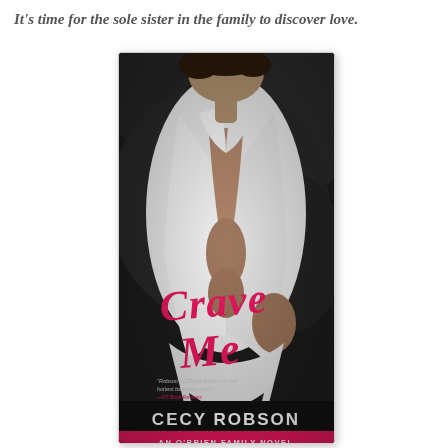It's time for the sole sister in the family to discover love.
[Figure (illustration): Book cover of 'Crave Me' by Cecy Robson — An O'Brien Family Novel. Black and white photo of a shirtless man in an open white dress shirt, with 'Crave Me' in large pink/magenta script text, a blurb quote, author name 'CECY ROBSON' in large white letters at the bottom, and a pink banner reading 'AN O'BRIEN FAMILY NOVEL'.]